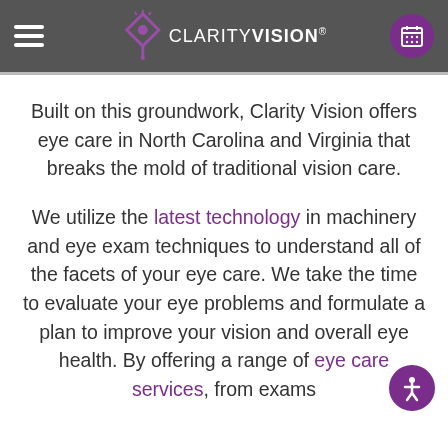CLARITY VISION®
Built on this groundwork, Clarity Vision offers eye care in North Carolina and Virginia that breaks the mold of traditional vision care.
We utilize the latest technology in machinery and eye exam techniques to understand all of the facets of your eye care. We take the time to evaluate your eye problems and formulate a plan to improve your vision and overall eye health. By offering a range of eye care services, from exams